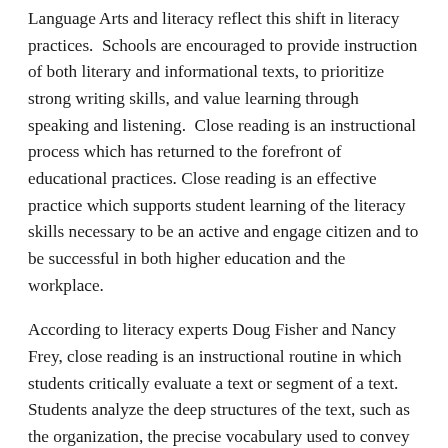Language Arts and literacy reflect this shift in literacy practices.  Schools are encouraged to provide instruction of both literary and informational texts, to prioritize strong writing skills, and value learning through speaking and listening.  Close reading is an instructional process which has returned to the forefront of educational practices. Close reading is an effective practice which supports student learning of the literacy skills necessary to be an active and engage citizen and to be successful in both higher education and the workplace.
According to literacy experts Doug Fisher and Nancy Frey, close reading is an instructional routine in which students critically evaluate a text or segment of a text. Students analyze the deep structures of the text, such as the organization, the precise vocabulary used to convey and explain